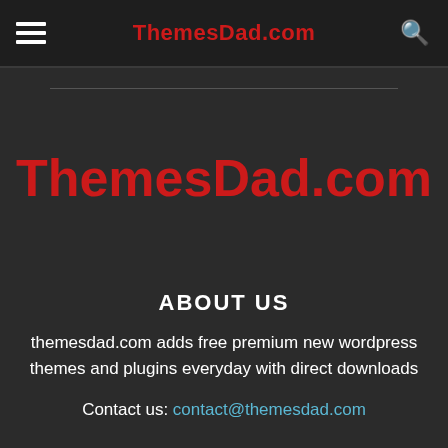ThemesDad.com
ThemesDad.com
ABOUT US
themesdad.com adds free premium new wordpress themes and plugins everyday with direct downloads
Contact us: contact@themesdad.com